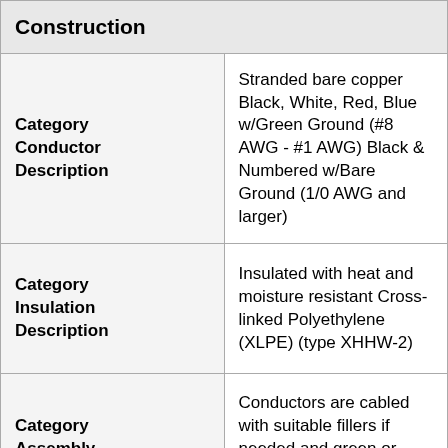| Construction |  |
| --- | --- |
| Category Conductor Description | Stranded bare copper Black, White, Red, Blue w/Green Ground (#8 AWG - #1 AWG) Black & Numbered w/Bare Ground (1/0 AWG and larger) |
| Category Insulation Description | Insulated with heat and moisture resistant Cross-linked Polyethylene (XLPE) (type XHHW-2) |
| Category Assembly | Conductors are cabled with suitable fillers if needed and green or bare ground |